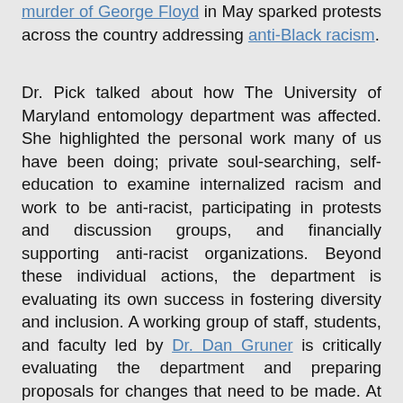murder of George Floyd in May sparked protests across the country addressing anti-Black racism.
Dr. Pick talked about how The University of Maryland entomology department was affected. She highlighted the personal work many of us have been doing; private soul-searching, self-education to examine internalized racism and work to be anti-racist, participating in protests and discussion groups, and financially supporting anti-racist organizations. Beyond these individual actions, the department is evaluating its own success in fostering diversity and inclusion. A working group of staff, students, and faculty led by Dr. Dan Gruner is critically evaluating the department and preparing proposals for changes that need to be made. At the campus-wide level, UMD's new president Darryll J. Pines instituted requirements that each department develop onboarding that includes anti-